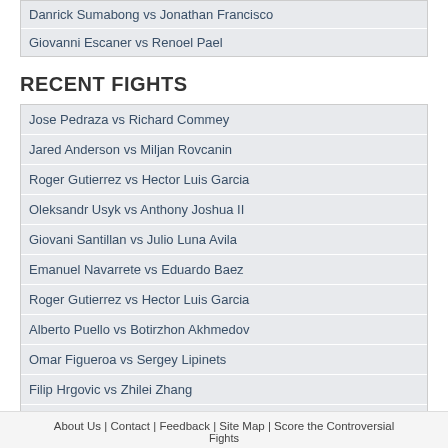Danrick Sumabong vs Jonathan Francisco
Giovanni Escaner vs Renoel Pael
RECENT FIGHTS
Jose Pedraza vs Richard Commey
Jared Anderson vs Miljan Rovcanin
Roger Gutierrez vs Hector Luis Garcia
Oleksandr Usyk vs Anthony Joshua II
Giovani Santillan vs Julio Luna Avila
Emanuel Navarrete vs Eduardo Baez
Roger Gutierrez vs Hector Luis Garcia
Alberto Puello vs Botirzhon Akhmedov
Omar Figueroa vs Sergey Lipinets
Filip Hrgovic vs Zhilei Zhang
Brandun Lee vs Will Madera
About Us | Contact | Feedback | Site Map | Score the Controversial Fights